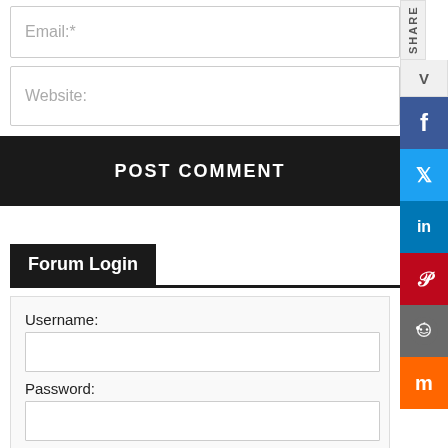Email:*
Website:
POST COMMENT
Forum Login
Username:
Password: